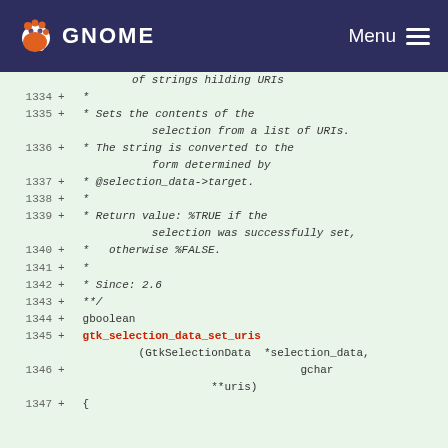GNOME   Menu
Code diff showing lines 1334-1347 of a C file with gtk_selection_data_set_uris function documentation and signature